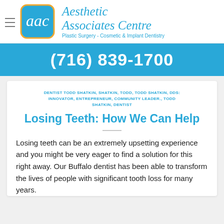Aesthetic Associates Centre — Plastic Surgery - Cosmetic & Implant Dentistry
(716) 839-1700
DENTIST TODD SHATKIN, SHATKIN, TODD, TODD SHATKIN, DDS: INNOVATOR, ENTREPRENEUR, COMMUNITY LEADER., TODD SHATKIN, DENTIST
Losing Teeth: How We Can Help
Losing teeth can be an extremely upsetting experience and you might be very eager to find a solution for this right away. Our Buffalo dentist has been able to transform the lives of people with significant tooth loss for many years.